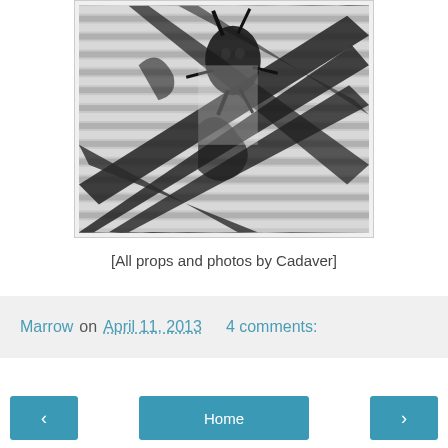[Figure (photo): Black and white photograph of skeletal/creature prop with sharp diagonal plant fronds or spiky elements against a striped background (window blinds). The creature prop appears dark and organic amid the geometric lines.]
[All props and photos by Cadaver]
Marrow on April 11, 2013   4 comments:
[Figure (other): Navigation bar with left arrow button, Home button, and right arrow button]